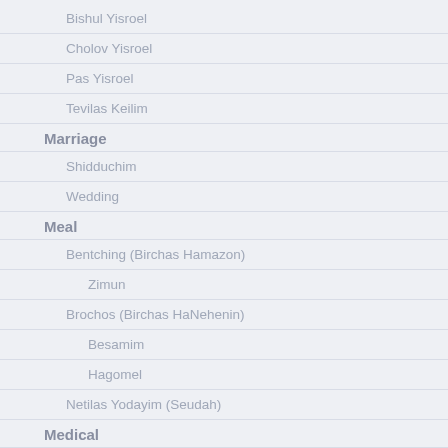Bishul Yisroel
Cholov Yisroel
Pas Yisroel
Tevilas Keilim
Marriage
Shidduchim
Wedding
Meal
Bentching (Birchas Hamazon)
Zimun
Brochos (Birchas HaNehenin)
Besamim
Hagomel
Netilas Yodayim (Seudah)
Medical
Alternative Medicine